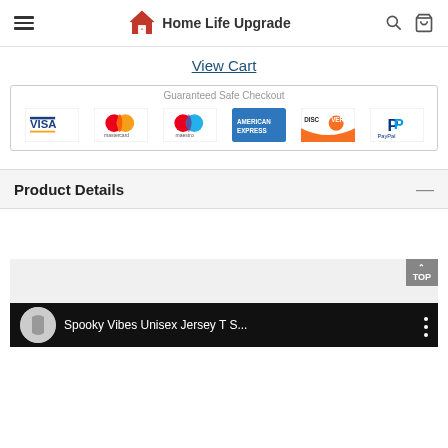Home Life Upgrade
View Cart
[Figure (infographic): Guaranteed Safe Checkout box showing payment method logos: Visa, Mastercard, Maestro, American Express, Discover, PayPal]
Product Details
[Figure (screenshot): Video thumbnail showing Spooky Vibes Unisex Jersey T S...]